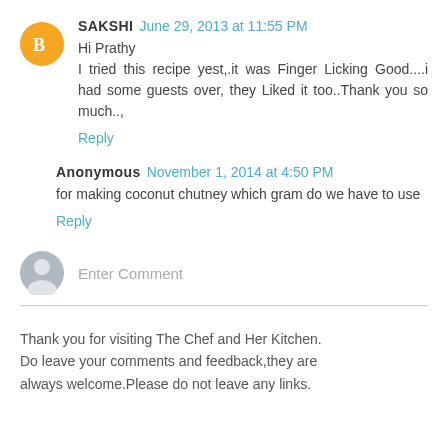SAKSHI June 29, 2013 at 11:55 PM
Hi Prathy
I tried this recipe yest,.it was Finger Licking Good....i had some guests over, they Liked it too..Thank you so much..,
Reply
Anonymous November 1, 2014 at 4:50 PM
for making coconut chutney which gram do we have to use
Reply
Enter Comment
Thank you for visiting The Chef and Her Kitchen.
Do leave your comments and feedback,they are always welcome.Please do not leave any links.